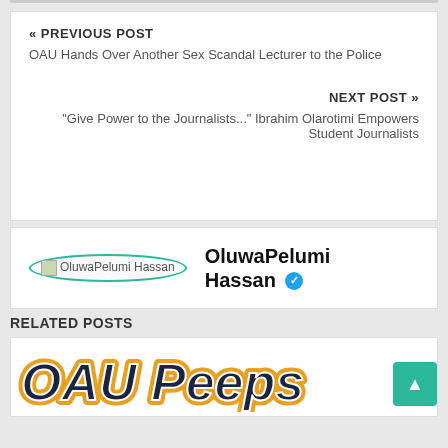« PREVIOUS POST
OAU Hands Over Another Sex Scandal Lecturer to the Police
NEXT POST »
"Give Power to the Journalists..." Ibrahim Olarotimi Empowers Student Journalists
[Figure (illustration): Author avatar placeholder image in an oval teal border]
OluwaPelumi Hassan ✓
RELATED POSTS
[Figure (logo): OAU Peeps logo with orange and dark blue stylized lettering]